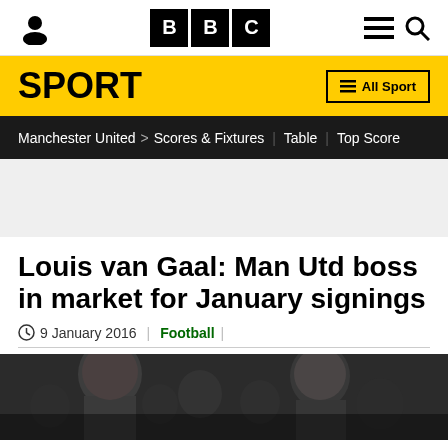BBC
SPORT | All Sport
Manchester United > Scores & Fixtures | Table | Top Score
Louis van Gaal: Man Utd boss in market for January signings
9 January 2016 | Football
[Figure (photo): Photo of Louis van Gaal in crowd at football match]